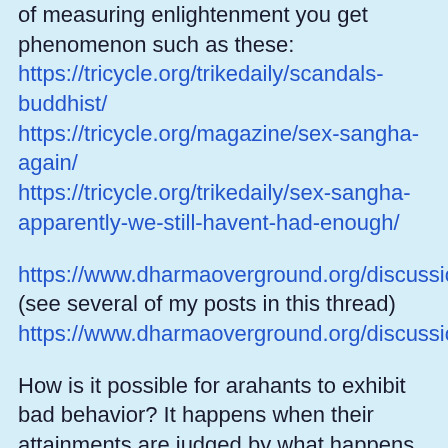of measuring enlightenment you get phenomenon such as these: https://tricycle.org/trikedaily/scandals-buddhist/ https://tricycle.org/magazine/sex-sangha-again/ https://tricycle.org/trikedaily/sex-sangha-apparently-we-still-havent-had-enough/
https://www.dharmaoverground.org/discussion/-/message_boards/message/21393142 (see several of my posts in this thread) https://www.dharmaoverground.org/discussion/-/message_boards/message/9570391
How is it possible for arahants to exhibit bad behavior? It happens when their attainments are judged by what happens to them in meditation and not by what they do in daily life. Anyone visiting with...